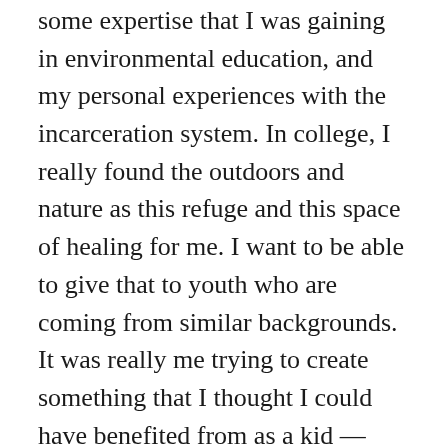some expertise that I was gaining in environmental education, and my personal experiences with the incarceration system. In college, I really found the outdoors and nature as this refuge and this space of healing for me. I want to be able to give that to youth who are coming from similar backgrounds. It was really me trying to create something that I thought I could have benefited from as a kid — having a space to process some of the issues, whether that's issues related to policing and incarceration or other things going on in my life.
That's also the work that the Bloom Project